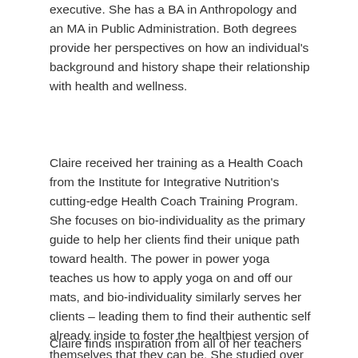executive. She has a BA in Anthropology and an MA in Public Administration. Both degrees provide her perspectives on how an individual's background and history shape their relationship with health and wellness.
Claire received her training as a Health Coach from the Institute for Integrative Nutrition's cutting-edge Health Coach Training Program. She focuses on bio-individuality as the primary guide to help her clients find their unique path toward health. The power in power yoga teaches us how to apply yoga on and off our mats, and bio-individuality similarly serves her clients – leading them to find their authentic self already inside to foster the healthiest version of themselves that they can be. She studied over 100 dietary theories and practical lifestyle management techniques with some of the world's top health and wellness experts. Her teachers included Dr. Andrew Weil, Dr. Deepak Chopra, Dr. David Katz, Dr. Walter Willett, and Geneen Roth.
Claire finds inspiration from all of her teachers but has found a deep appreciation for Lyn Gerfin Kehoe's